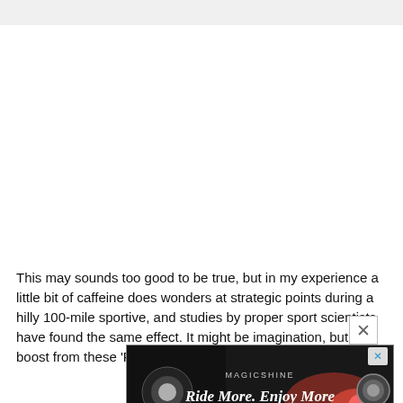This may sounds too good to be true, but in my experience a little bit of caffeine does wonders at strategic points during a hilly 100-mile sportive, and studies by proper sport scientists have found the same effect. It might be imagination, but the boost from these 'Plus' gels se…s to be al… big hill h… …ersey back…
[Figure (screenshot): Advertisement banner for Magicshine 'Ride More. Enjoy More' cycling lights product, showing a dark image of a bicycle headlight with red accent lighting.]